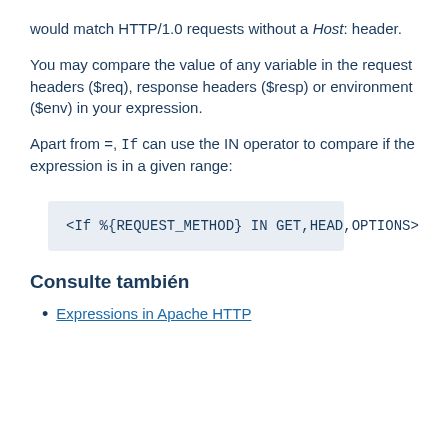would match HTTP/1.0 requests without a Host: header.
You may compare the value of any variable in the request headers ($req), response headers ($resp) or environment ($env) in your expression.
Apart from =, If can use the IN operator to compare if the expression is in a given range:
<If %{REQUEST_METHOD} IN GET,HEAD,OPTIONS>
Consulte también
Expressions in Apache HTTP